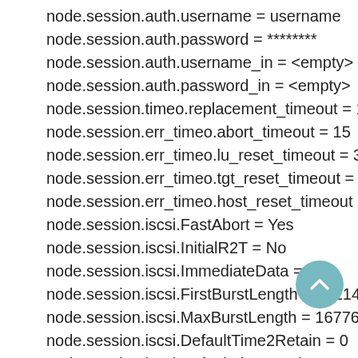node.session.auth.username = username
node.session.auth.password = ********
node.session.auth.username_in = <empty>
node.session.auth.password_in = <empty>
node.session.timeo.replacement_timeout = 120
node.session.err_timeo.abort_timeout = 15
node.session.err_timeo.lu_reset_timeout = 30
node.session.err_timeo.tgt_reset_timeout = 30
node.session.err_timeo.host_reset_timeout = 60
node.session.iscsi.FastAbort = Yes
node.session.iscsi.InitialR2T = No
node.session.iscsi.ImmediateData = Yes
node.session.iscsi.FirstBurstLength = 262144
node.session.iscsi.MaxBurstLength = 16776192
node.session.iscsi.DefaultTime2Retain = 0
node.session.iscsi.DefaultTime2Wait = 2
node.session.iscsi.MaxConnections = 1
[Figure (other): Scroll-to-top button: teal/green circular button with upward-pointing chevron arrow]